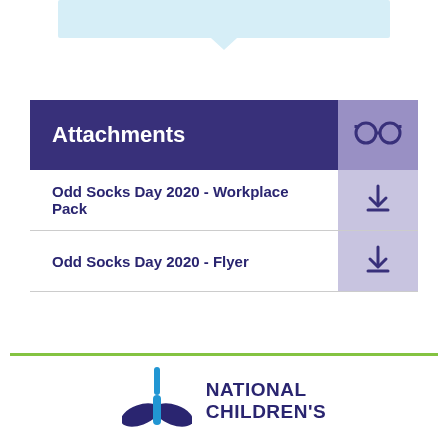[Figure (infographic): Light blue banner at top with downward chevron/arrow]
| Attachments |  |
| --- | --- |
| Odd Socks Day 2020 - Workplace Pack | download icon |
| Odd Socks Day 2020 - Flyer | download icon |
[Figure (logo): National Children's Bureau logo - blue figure with wings and text NATIONAL CHILDREN'S]